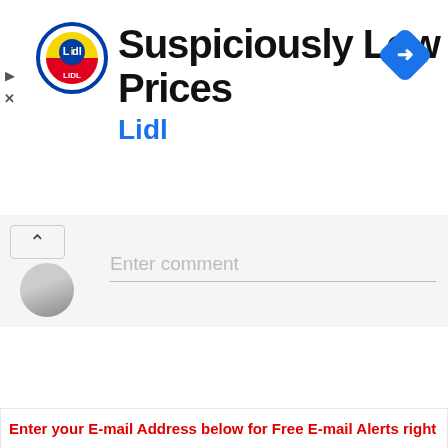[Figure (logo): Lidl advertisement banner with Lidl logo, title 'Suspiciously Low Prices', subtitle 'Lidl', and a blue diamond navigation icon. Ad controls (play and close) on the left.]
Enter comment
Enter your E-mail Address below for Free E-mail Alerts right